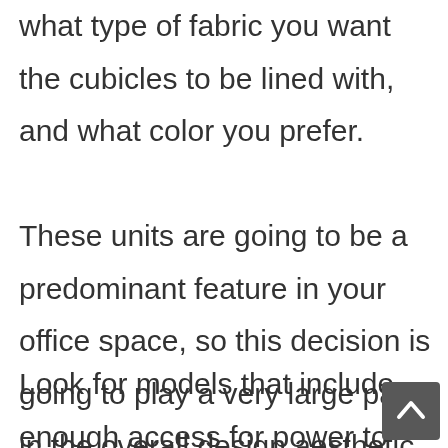what type of fabric you want the cubicles to be lined with, and what color you prefer. These units are going to be a predominant feature in your office space, so this decision is going to play a very large part in the overall design aesthetic of your workspace. On the other hand, if you're not fussy about how the space looks, you may be able to find a cheap option by selecting a less popular color.
Look for models that include enough access for power to meet the needs of your typical workstation setups. You may